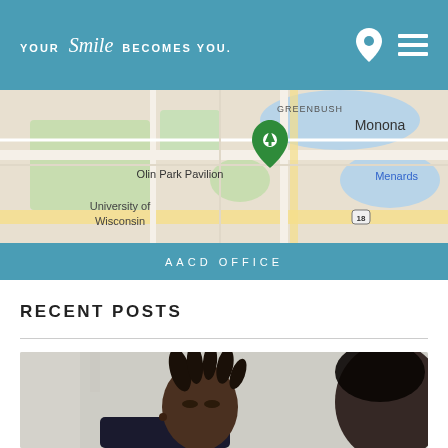YOUR Smile BECOMES YOU.
[Figure (map): Google Maps screenshot showing area around Olin Park Pavilion, University of Wisconsin, Monona, and Menards in Madison, WI. A green location pin marks Olin Park Pavilion.]
AACD OFFICE
RECENT POSTS
[Figure (photo): Close-up photo of a man with dreadlocks looking downward, with another person's head partially visible in the right foreground.]